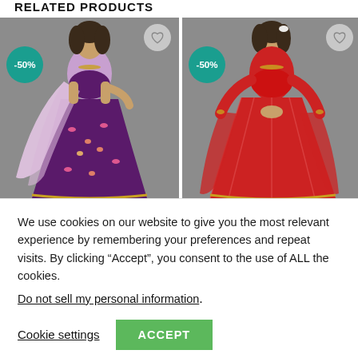RELATED PRODUCTS
[Figure (photo): Woman wearing a purple embroidered lehenga choli with pink floral patterns and a light pink dupatta. A teal circle badge shows -50% discount. A heart icon is in the top right corner.]
[Figure (photo): Woman wearing a red embroidered lehenga choli with a red dupatta. A teal circle badge shows -50% discount. A heart icon is in the top right corner.]
We use cookies on our website to give you the most relevant experience by remembering your preferences and repeat visits. By clicking “Accept”, you consent to the use of ALL the cookies.
Do not sell my personal information.
Cookie settings
ACCEPT